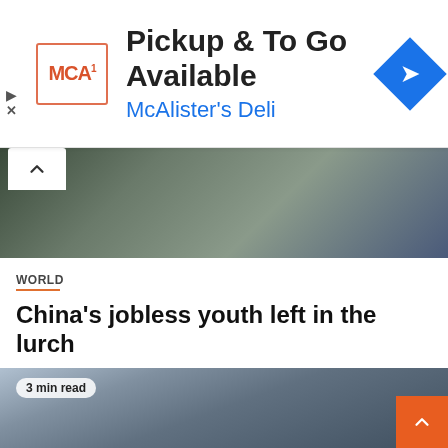[Figure (other): Advertisement banner for McAlister's Deli — Pickup & To Go Available]
[Figure (photo): Partial photo of people standing, top portion cropped]
WORLD
China's jobless youth left in the lurch
August 28, 2022  David Laney
[Figure (photo): Photo of cricket players celebrating on a field, with '3 min read' badge overlay]